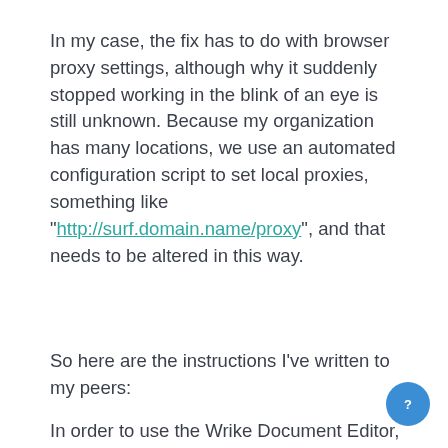In my case, the fix has to do with browser proxy settings, although why it suddenly stopped working in the blink of an eye is still unknown. Because my organization has many locations, we use an automated configuration script to set local proxies, something like "http://surf.domain.name/proxy", and that needs to be altered in this way.
So here are the instructions I've written to my peers:
In order to use the Wrike Document Editor, we have to make a change to our internet